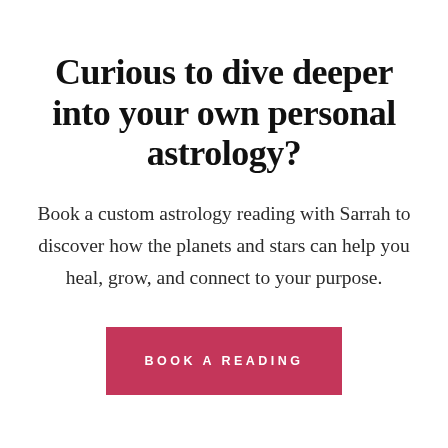Curious to dive deeper into your own personal astrology?
Book a custom astrology reading with Sarrah to discover how the planets and stars can help you heal, grow, and connect to your purpose.
BOOK A READING